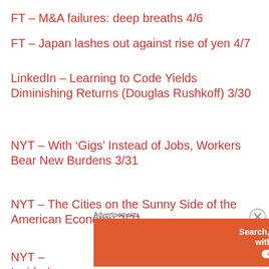FT – M&A failures: deep breaths 4/6
FT – Japan lashes out against rise of yen 4/7
LinkedIn – Learning to Code Yields Diminishing Returns (Douglas Rushkoff) 3/30
NYT – With 'Gigs' Instead of Jobs, Workers Bear New Burdens 3/31
NYT – The Cities on the Sunny Side of the American Economy 3/31
NYT – Insider's Account of How Graft Fed Brazil's
Advertisements
[Figure (other): DuckDuckGo advertisement banner: orange left panel with text 'Search, browse, and email with more privacy. All in One Free App', dark right panel with DuckDuckGo duck logo and brand name.]